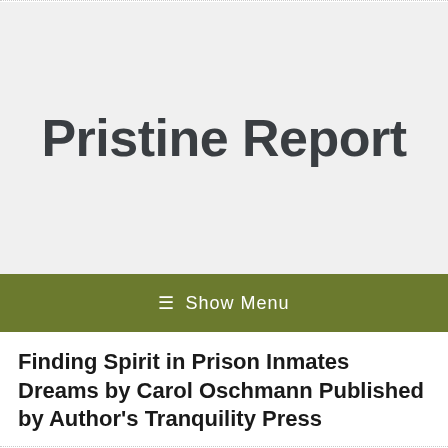Pristine Report
≡ Show Menu
Finding Spirit in Prison Inmates Dreams by Carol Oschmann Published by Author's Tranquility Press